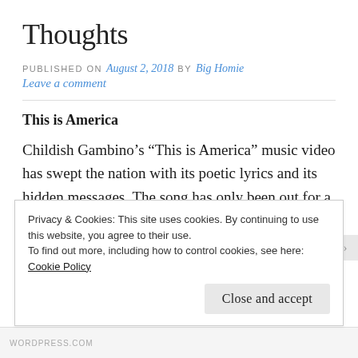Thoughts
PUBLISHED ON August 2, 2018 by Big Homie
Leave a comment
This is America
Childish Gambino’s “This is America” music video has swept the nation with its poetic lyrics and its hidden messages. The song has only been out for a week (as of this writing) and the music video already has over 139
Privacy & Cookies: This site uses cookies. By continuing to use this website, you agree to their use.
To find out more, including how to control cookies, see here:
Cookie Policy
Close and accept